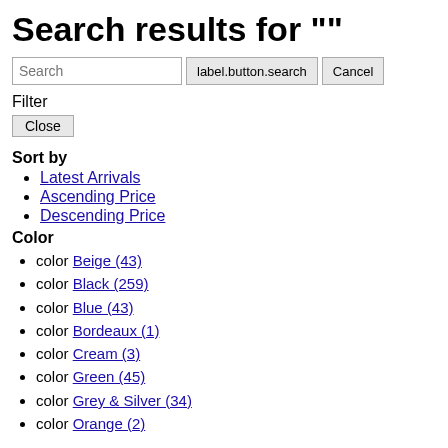Search results for ""
Search | label.button.search | Cancel
Filter
Close
Sort by
Latest Arrivals
Ascending Price
Descending Price
Color
color Beige (43)
color Black (259)
color Blue (43)
color Bordeaux (1)
color Cream (3)
color Green (45)
color Grey & Silver (34)
color Orange (?)